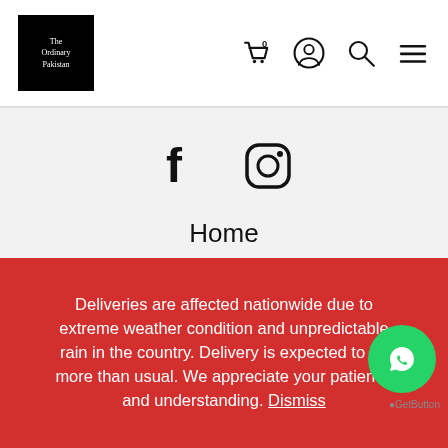The Ordinary Pakistan — navigation header with cart (0), account, search, and menu icons
[Figure (screenshot): Facebook and Instagram social media icons]
Home
About us
Shop
Contact
Order Tracking
FAQs
Guide
Blog
Deliveries are affected nationwide due to extreme weather condition and unpredictable rain in the country. Delivery is expected to be more than usual. We appreciate your patience and understanding. Dismiss